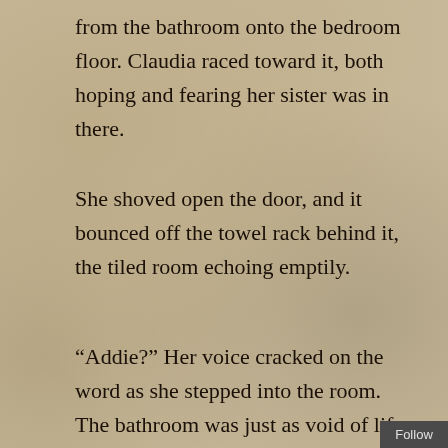from the bathroom onto the bedroom floor. Claudia raced toward it, both hoping and fearing her sister was in there.
She shoved open the door, and it bounced off the towel rack behind it, the tiled room echoing emptily.
“Addie?” Her voice cracked on the word as she stepped into the room. The bathroom was just as void of life as the rest of the place had been. Addie’s usual array of